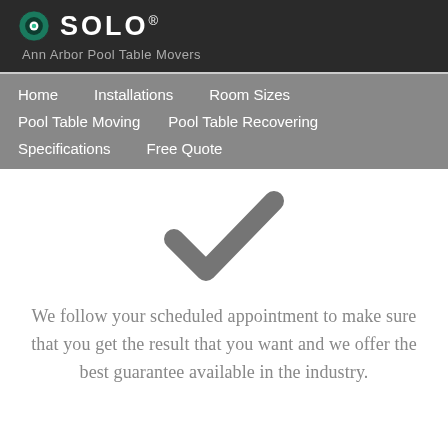SOLO®
Ann Arbor Pool Table Movers
Home
Installations
Room Sizes
Pool Table Moving
Pool Table Recovering
Specifications
Free Quote
[Figure (illustration): Large grey checkmark icon]
We follow your scheduled appointment to make sure that you get the result that you want and we offer the best guarantee available in the industry.